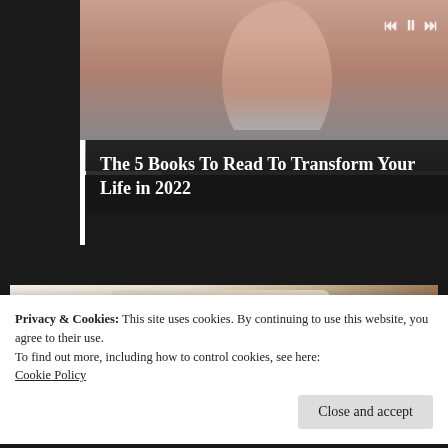[Figure (screenshot): Video thumbnail showing a woman with dark hair, with media playback controls (skip back, pause, skip forward) and a progress bar at the bottom]
The 5 Books To Read To Transform Your Life in 2022
[Figure (photo): Product photo of a smart bed with built-in speakers, headboard, storage, and laptop stand on white background]
Privacy & Cookies: This site uses cookies. By continuing to use this website, you agree to their use.
To find out more, including how to control cookies, see here:
Cookie Policy
Close and accept
The Best Smart Beds in 2022 (View Now)